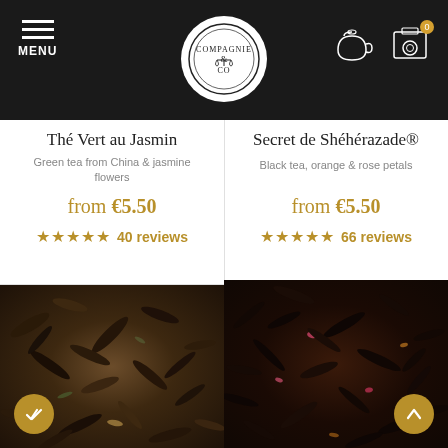MENU | Compagnie & Co logo | Cart icons
Thé Vert au Jasmin
Green tea from China & jasmine flowers
from €5.50
★★★★★ 40 reviews
Secret de Shéhérazade®
Black tea, orange & rose petals
from €5.50
★★★★★ 66 reviews
[Figure (photo): Close-up of loose leaf green tea with jasmine flowers]
[Figure (photo): Close-up of loose leaf black tea with orange and rose petals]